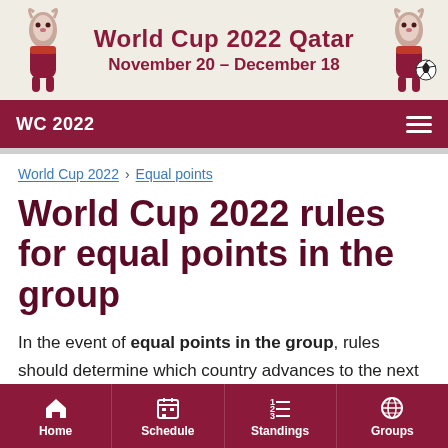[Figure (illustration): World Cup 2022 Qatar banner with mascots on left and right, maroon text reading 'World Cup 2022 Qatar' and 'November 20 – December 18' on beige background]
WC 2022
World Cup 2022 › Equal points
World Cup 2022 rules for equal points in the group
In the event of equal points in the group, rules should determine which country advances to the next round of the 2022 World Cup and which country is eliminated.
Home   Schedule   Standings   Groups